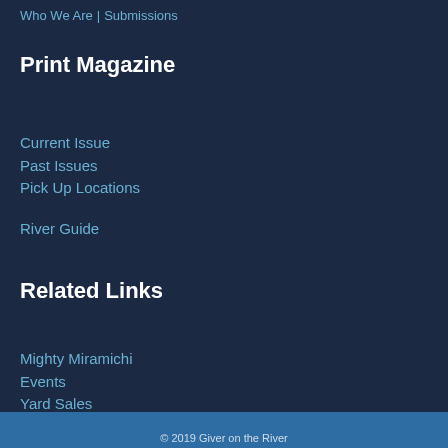Who We Are | Submissions
Print Magazine
Current Issue
Past Issues
Pick Up Locations
River Guide
Related Links
Mighty Miramichi
Events
Yard Sales
Marketplace
Funeral Announcements
© 2019 Giver on the River